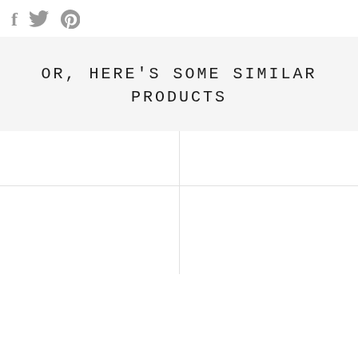[Figure (other): Social sharing icons: Facebook (f), Twitter (bird), Pinterest (P) in gray]
OR, HERE'S SOME SIMILAR PRODUCTS
[Figure (other): 2x2 grid of product image placeholders (white boxes on light gray background)]